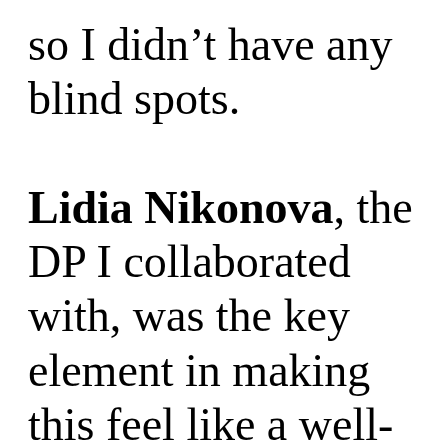so I didn't have any blind spots. Lidia Nikonova, the DP I collaborated with, was the key element in making this feel like a well-rounded and